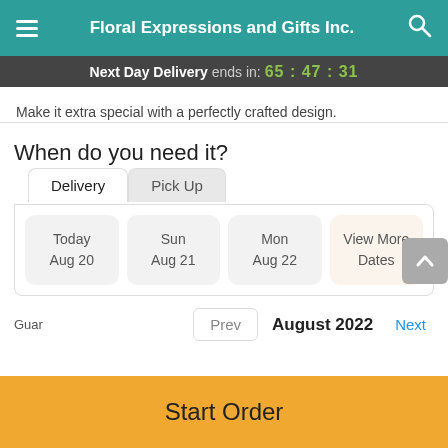Floral Expressions and Gifts Inc.
Next Day Delivery ends in: 65:47:31
Make it extra special with a perfectly crafted design.
When do you need it?
Delivery | Pick Up
Today Aug 20 | Sun Aug 21 | Mon Aug 22 | View More Dates
Guar  Prev  August 2022  Next
Start Order